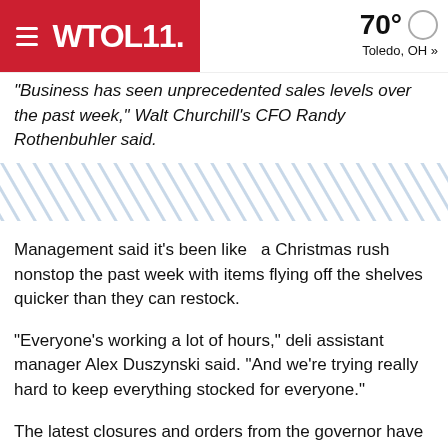WTOL 11. | 70° Toledo, OH »
"Business has seen unprecedented sales levels over the past week," Walt Churchill's CFO Randy Rothenbuhler said.
[Figure (other): Diagonal hatched divider graphic]
Management said it's been like  a Christmas rush nonstop the past week with items flying off the shelves quicker than they can restock.
"Everyone's working a lot of hours," deli assistant manager Alex Duszynski said. "And we're trying really hard to keep everything stocked for everyone."
The latest closures and orders from the governor have forced many people out of work for the time being.
"We need more workers right now," Rothenbuhler said. "Given the sales level that we're at, we saw this on